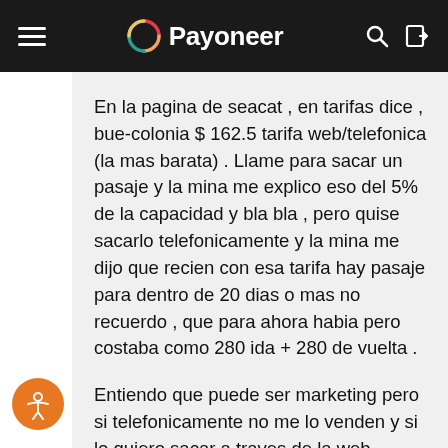Payoneer
En la pagina de seacat , en tarifas dice , bue-colonia $ 162.5 tarifa web/telefonica (la mas barata) . Llame para sacar un pasaje y la mina me explico eso del 5% de la capacidad y bla bla , pero quise sacarlo telefonicamente y la mina me dijo que recien con esa tarifa hay pasaje para dentro de 20 dias o mas no recuerdo , que para ahora habia pero costaba como 280 ida + 280 de vuelta .
Entiendo que puede ser marketing pero si telefonicamente no me lo venden y si lo quiero sacar a traves de la web cuando busco pasajes tampoco hay de 162.50 , solo